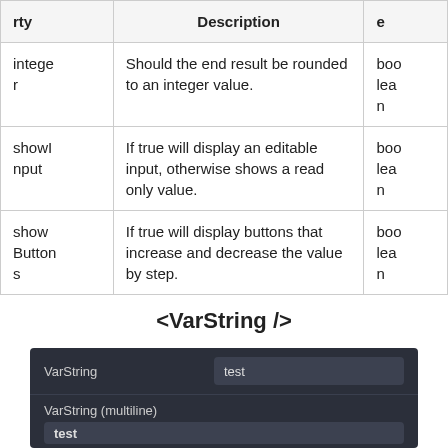| Property | Description | Type |
| --- | --- | --- |
| integer | Should the end result be rounded to an integer value. | boolean |
| showInput | If true will display an editable input, otherwise shows a read only value. | boolean |
| showButtons | If true will display buttons that increase and decrease the value by step. | boolean |
<VarString />
[Figure (screenshot): Dark-themed UI showing VarString component with a text input field showing 'test', and VarString (multiline) with a multiline input showing 'test']